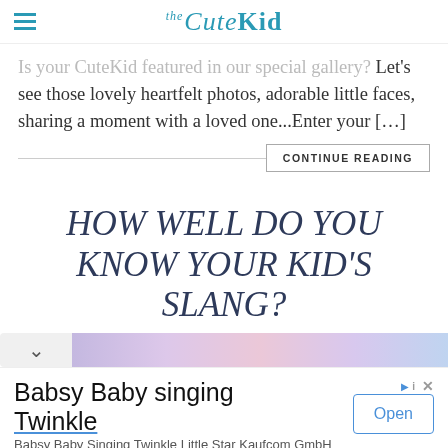the CuteKid
Is your CuteKid featured in our special gallery? Let's see those lovely heartfelt photos, adorable little faces, sharing a moment with a loved one...Enter your [...]
CONTINUE READING
HOW WELL DO YOU KNOW YOUR KID'S SLANG?
[Figure (illustration): Decorative banner strip with pastel purple and pink gradient colors, with a chevron/dropdown indicator on the left]
[Figure (screenshot): Advertisement for Babsy Baby singing Twinkle by Babsy Baby Singing Twinkle Little Star Kaufcom GmbH with an Open button]